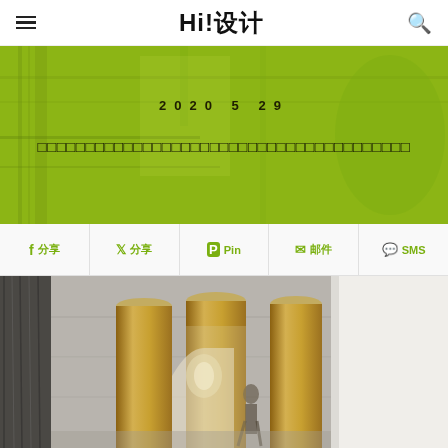Hi!设计
[Figure (photo): Green-tinted hero banner showing an interior architectural space with industrial elements, overlaid with a lime green color wash]
2020  5  29
□□□□□□□□□□□□□□□□□□□□□□□□□□□□□□□□□□□□□□
f 分享  🐦 分享  🅟 Pin  ✉ 邮件  💬 SMS
[Figure (photo): Interior architectural photo showing a modern space with cylindrical gold/brass columns, arched openings, exposed concrete ceiling, pendant lights, and a person walking through the space]